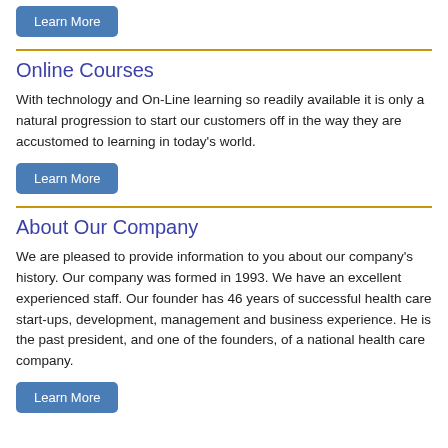Learn More
Online Courses
With technology and On-Line learning so readily available it is only a natural progression to start our customers off in the way they are accustomed to learning in today's world.
Learn More
About Our Company
We are pleased to provide information to you about our company's history. Our company was formed in 1993. We have an excellent experienced staff. Our founder has 46 years of successful health care start-ups, development, management and business experience. He is the past president, and one of the founders, of a national health care company.
Learn More